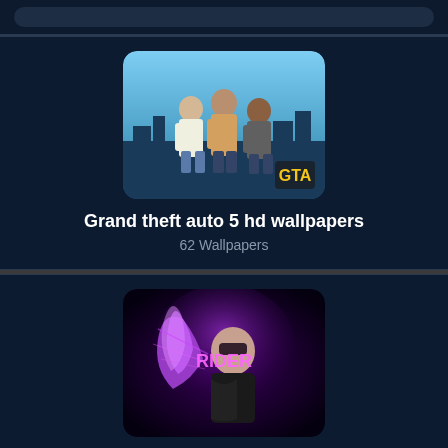[Figure (screenshot): Top navigation bar with dark background and rounded pill-shaped search/menu bar]
[Figure (illustration): GTA 5 HD wallpaper thumbnail showing three characters standing together with city background]
Grand theft auto 5 hd wallpapers
62 Wallpapers
[Figure (illustration): Fate Stay Night Rider wallpaper thumbnail showing anime character with purple hair and glowing effects with RIDER text]
Fate stay night rider wallpaper
24 Wallpapers
[Figure (illustration): Dark fantasy wallpaper thumbnail partially visible at bottom, showing armored figure or dark scene]